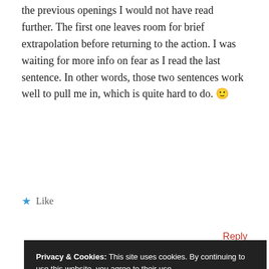the previous openings I would not have read further. The first one leaves room for brief extrapolation before returning to the action. I was waiting for more info on fear as I read the last sentence. In other words, those two sentences work well to pull me in, which is quite hard to do. 🙂
★ Like
Reply
Privacy & Cookies: This site uses cookies. By continuing to use this website, you agree to their use.
To find out more, including how to control cookies, see here:
Cookie Policy
Close and accept